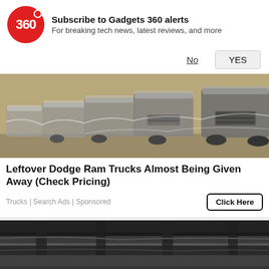[Figure (logo): Gadgets 360 red circle logo with '360' text]
Subscribe to Gadgets 360 alerts
For breaking tech news, latest reviews, and more
No   YES
[Figure (photo): Row of covered trucks/SUVs in a lot, wrapped in plastic, viewed from the front at an angle]
Leftover Dodge Ram Trucks Almost Being Given Away (Check Pricing)
Trucks | Search Ads | Sponsored
[Figure (photo): Dark undercarriage/structure photo, second advertisement image]